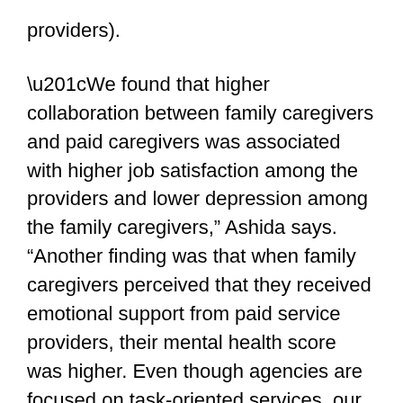providers).
“We found that higher collaboration between family caregivers and paid caregivers was associated with higher job satisfaction among the providers and lower depression among the family caregivers,” Ashida says. “Another finding was that when family caregivers perceived that they received emotional support from paid service providers, their mental health score was higher. Even though agencies are focused on task-oriented services, our study suggests that having additional emotional support services could have positive implications on the psychological well-being of